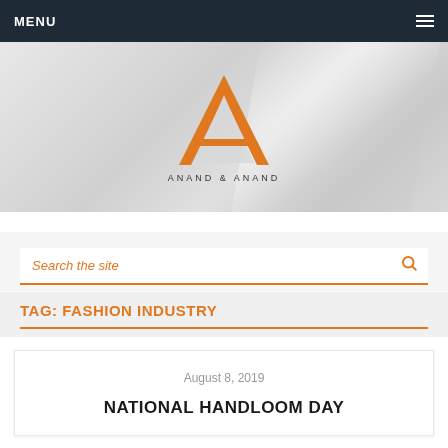MENU
[Figure (logo): Anand & Anand logo — orange letter A formed by two triangular strokes with a horizontal bar, text 'ANAND & ANAND' below in dark lettering, on a grey gradient background]
Search the site
TAG: FASHION INDUSTRY
August 8, 2019
NATIONAL HANDLOOM DAY